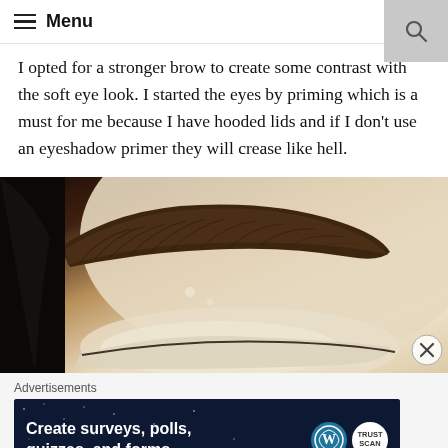Menu
I opted for a stronger brow to create some contrast with the soft eye look. I started the eyes by priming which is a must for me because I have hooded lids and if I don't use an eyeshadow primer they will crease like hell.
[Figure (photo): Close-up photograph of a woman's eyebrow, showing a defined, strong brow shape with the eyelid area visible beneath, eyeshadow primer applied giving a light base.]
Advertisements
[Figure (screenshot): Advertisement banner: 'Create surveys, polls, quizzes, and forms.' with WordPress and another logo on a dark blue starry background.]